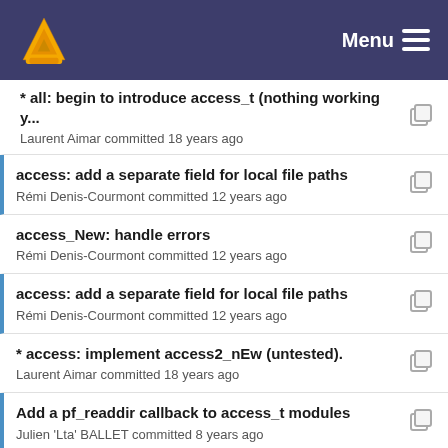VLC — Menu
* all: begin to introduce access_t (nothing working y...
Laurent Aimar committed 18 years ago
access: add a separate field for local file paths
Rémi Denis-Courmont committed 12 years ago
access_New: handle errors
Rémi Denis-Courmont committed 12 years ago
access: add a separate field for local file paths
Rémi Denis-Courmont committed 12 years ago
* access: implement access2_nEw (untested).
Laurent Aimar committed 18 years ago
Add a pf_readdir callback to access_t modules
Julien 'Lta' BALLET committed 8 years ago
* access: implement access2_nEw (untested).
Laurent Aimar committed 18 years ago